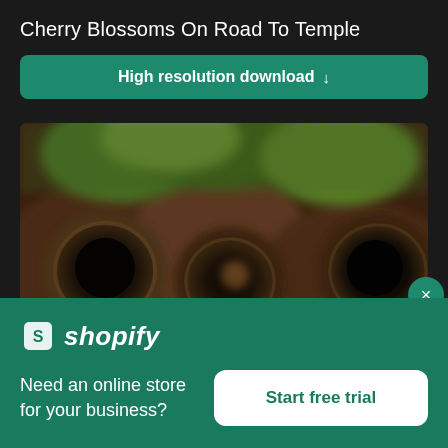Cherry Blossoms On Road To Temple
High resolution download ↓
[Figure (photo): Blurred photo showing dark brown wooden surfaces with circular holes/openings and green foliage at the top — appears to be bamboo or wooden tubes viewed from above]
[Figure (logo): Shopify logo — white shopping bag icon with letter S alongside italic bold text 'shopify' in white]
Need an online store for your business?
Start free trial